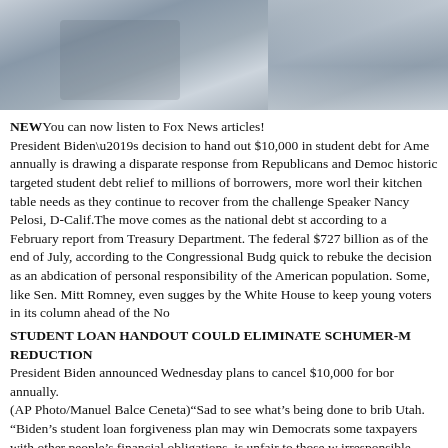[Figure (photo): Cropped news article photo showing a partial view of a person or scene, with grey and blue tones, partially cut off at top.]
NEWYou can now listen to Fox News articles!
President Biden’s decision to hand out $10,000 in student debt for Ame annually is drawing a disparate response from Republicans and Democ historic targeted student debt relief to millions of borrowers, more worl their kitchen table needs as they continue to recover from the challenge Speaker Nancy Pelosi, D-Calif.The move comes as the national debt st according to a February report from Treasury Department. The federal $727 billion as of the end of July, according to the Congressional Budg quick to rebuke the decision as an abdication of personal responsibility of the American population. Some, like Sen. Mitt Romney, even sugges by the White House to keep young voters in its column ahead of the No
STUDENT LOAN HANDOUT COULD ELIMINATE SCHUMER-M REDUCTION
President Biden announced Wednesday plans to cancel $10,000 for bor annually.
(AP Photo/Manuel Balce Ceneta)“Sad to see what’s being done to brib Utah. “Biden’s student loan forgiveness plan may win Democrats some taxpayers with other people’s financial obligations, is unfair to those w irresponsible expectations.” Republicans largely argued, however, that which has already resulted in prices rising at the fastest rate in 40 years